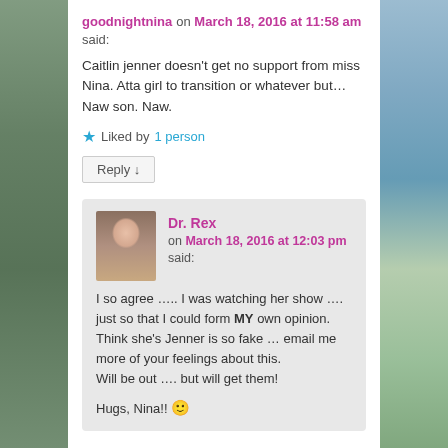goodnightnina on March 18, 2016 at 11:58 am said:
Caitlin jenner doesn't get no support from miss Nina. Atta girl to transition or whatever but… Naw son. Naw.
★ Liked by 1 person
Reply ↓
Dr. Rex on March 18, 2016 at 12:03 pm said:
I so agree ….. I was watching her show …. just so that I could form MY own opinion. Think she's Jenner is so fake … email me more of your feelings about this. Will be out …. but will get them!
Hugs, Nina!! 🙂